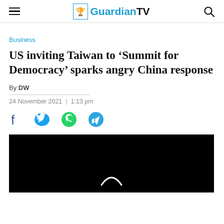GuardianTV
Business
US inviting Taiwan to ‘Summit for Democracy’ sparks angry China response
By DW
24 November 2021  |  1:13 pm
[Figure (other): Social share icons: Facebook, Twitter, WhatsApp, Telegram]
[Figure (photo): Black video thumbnail with white play button arc visible]